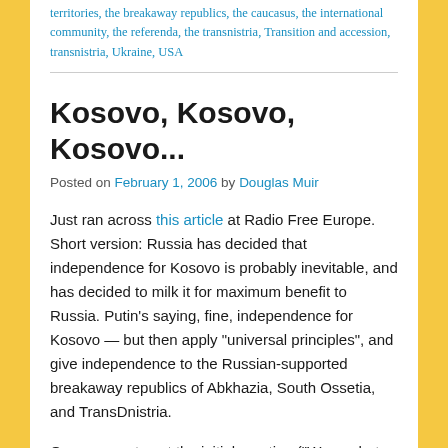territories, the breakaway republics, the caucasus, the international community, the referenda, the transnistria, Transition and accession, transnistria, Ukraine, USA
Kosovo, Kosovo, Kosovo...
Posted on February 1, 2006 by Douglas Muir
Just ran across this article at Radio Free Europe. Short version: Russia has decided that independence for Kosovo is probably inevitable, and has decided to milk it for maximum benefit to Russia. Putin’s saying, fine, independence for Kosovo — but then apply “universal principles”, and give independence to the Russian-supported breakaway republics of Abkhazia, South Ossetia, and TransDnistria.
Once you get past the initial reaction (“Wow, what a jerk”), this bears a little thinking about.